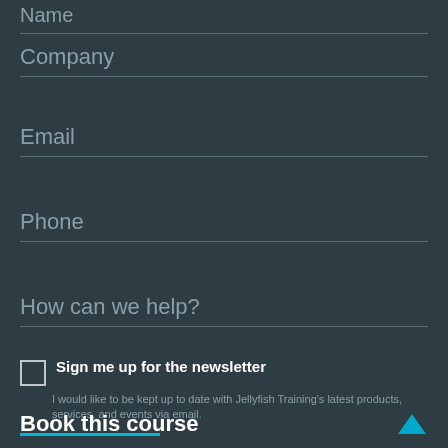Name
Company
Email
Phone
How can we help?
Sign me up for the newsletter
I would like to be kept up to date with Jellyfish Training's latest products, services, and events via email.
Book this course